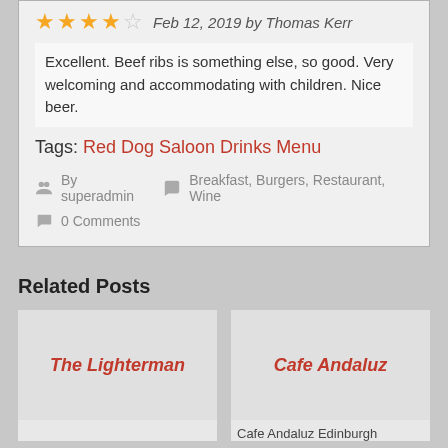★★★★☆ Feb 12, 2019 by Thomas Kerr
Excellent. Beef ribs is something else, so good. Very welcoming and accommodating with children. Nice beer.
Tags: Red Dog Saloon Drinks Menu
By superadmin  Breakfast, Burgers, Restaurant, Wine
0 Comments
Related Posts
[Figure (other): Related post thumbnail for The Lighterman]
[Figure (other): Related post thumbnail for Cafe Andaluz]
Cafe Andaluz Edinburgh